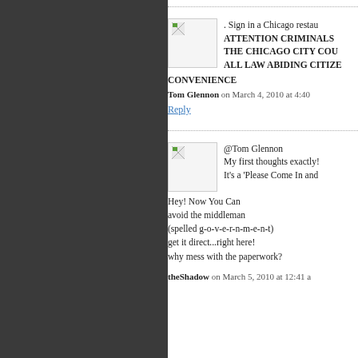[Figure (other): Dark gray left panel background]
. Sign in a Chicago restau ATTENTION CRIMINALS THE CHICAGO CITY COU ALL LAW ABIDING CITIZE CONVENIENCE
Tom Glennon on March 4, 2010 at 4:40
Reply
@Tom Glennon
My first thoughts exactly!
It's a 'Please Come In and
Hey! Now You Can
avoid the middleman
(spelled g-o-v-e-r-n-m-e-n-t)
get it direct...right here!
why mess with the paperwork?
theShadow on March 5, 2010 at 12:41 a